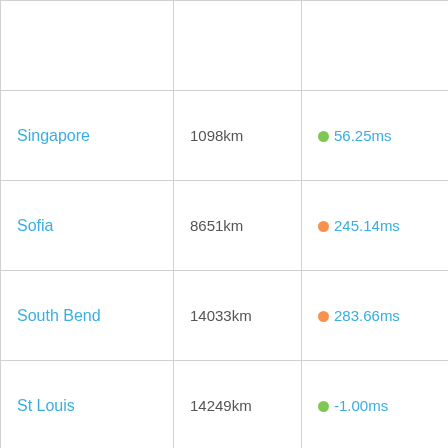| City | Distance | Latency | Loss |
| --- | --- | --- | --- |
|  |  |  |  |
| Singapore | 1098km | 56.25ms | 19.61% |
| Sofia | 8651km | 245.14ms | 35.31% |
| South Bend | 14033km | 283.66ms | 49.59% |
| St Louis | 14249km | -1.00ms | -14249.00% |
| St Petersburg | 8209km | 307.75ms | 26.74% |